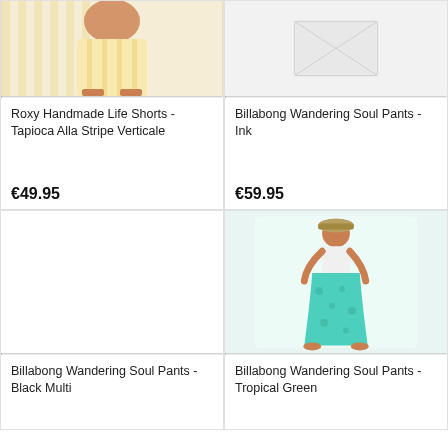[Figure (photo): Roxy Handmade Life Shorts in Tapioca Alla Stripe Verticale — cropped view of yellow striped shorts on model]
Roxy Handmade Life Shorts - Tapioca Alla Stripe Verticale
€49.95
[Figure (photo): Billabong Wandering Soul Pants - Ink — product image placeholder/no image shown]
Billabong Wandering Soul Pants - Ink
€59.95
[Figure (photo): Billabong Wandering Soul Pants - Black Multi — no product image shown]
Billabong Wandering Soul Pants - Black Multi
[Figure (photo): Billabong Wandering Soul Pants - Tropical Green — woman wearing wide-leg teal/turquoise floral pants with white top and hat]
Billabong Wandering Soul Pants - Tropical Green